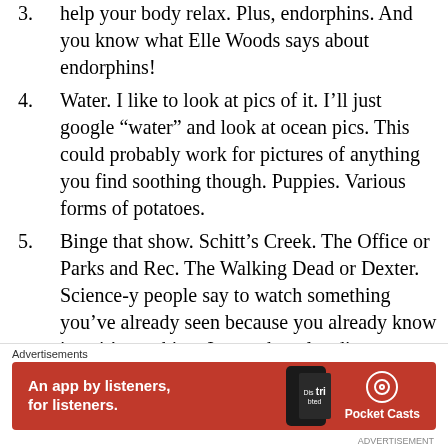help your body relax. Plus, endorphins. And you know what Elle Woods says about endorphins!
Water. I like to look at pics of it. I’ll just google “water” and look at ocean pics. This could probably work for pictures of anything you find soothing though. Puppies. Various forms of potatoes.
Binge that show. Schitt’s Creek. The Office or Parks and Rec. The Walking Dead or Dexter. Science-y people say to watch something you’ve already seen because you already know it so it’s soothing. I agree but also disagree. Sometimes a new true crime doc helps too.
Read. Takes your mind out of reality for a bit
[Figure (infographic): Pocket Casts advertisement banner: red background with white text 'An app by listeners, for listeners.' and Pocket Casts logo, with a phone image showing 'Dis tri bted' text]